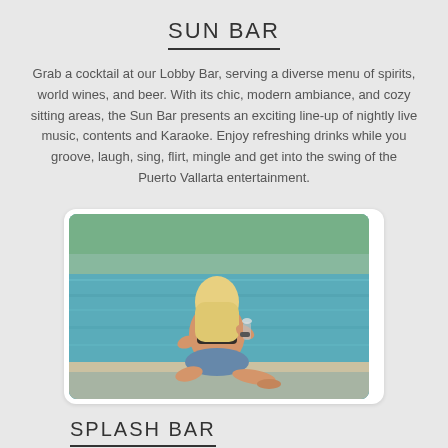SUN BAR
Grab a cocktail at our Lobby Bar, serving a diverse menu of spirits, world wines, and beer. With its chic, modern ambiance, and cozy sitting areas, the Sun Bar presents an exciting line-up of nightly live music, contents and Karaoke. Enjoy refreshing drinks while you groove, laugh, sing, flirt, mingle and get into the swing of the Puerto Vallarta entertainment.
[Figure (photo): Woman in bikini sitting by a turquoise pool holding a drink, viewed from behind with long blonde hair.]
SPLASH BAR